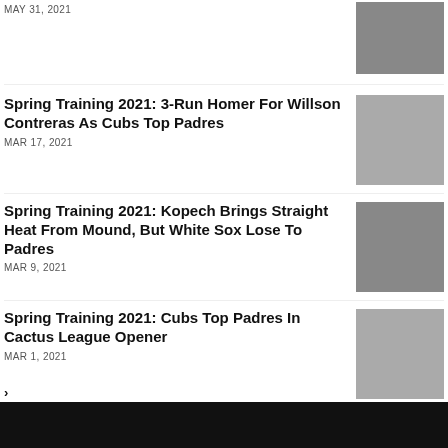MAY 31, 2021
[Figure (photo): Baseball pitcher photo]
Spring Training 2021: 3-Run Homer For Willson Contreras As Cubs Top Padres
MAR 17, 2021
[Figure (photo): Baseball game photo showing player sliding]
Spring Training 2021: Kopech Brings Straight Heat From Mound, But White Sox Lose To Padres
MAR 9, 2021
[Figure (photo): Michael Kopech adjusting to switching from starter to relief pitcher]
Spring Training 2021: Cubs Top Padres In Cactus League Opener
MAR 1, 2021
[Figure (photo): Cubs player batting photo]